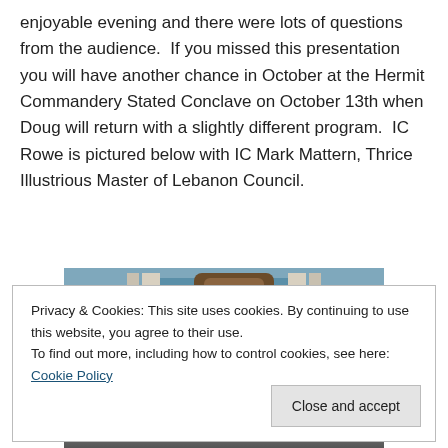enjoyable evening and there were lots of questions from the audience.  If you missed this presentation you will have another chance in October at the Hermit Commandery Stated Conclave on October 13th when Doug will return with a slightly different program.  IC Rowe is pictured below with IC Mark Mattern, Thrice Illustrious Master of Lebanon Council.
[Figure (photo): Indoor photograph showing two men in formal attire standing in front of a wooden backdrop with columns and a blue wall. One man is older and bald in the foreground, the other is younger and stands slightly behind.]
Privacy & Cookies: This site uses cookies. By continuing to use this website, you agree to their use.
To find out more, including how to control cookies, see here: Cookie Policy